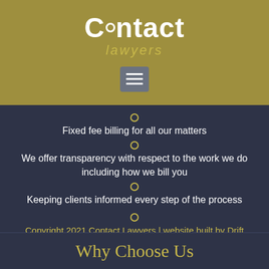[Figure (logo): Contact Lawyers logo with stylized text and dot, on olive/gold background, with hamburger menu icon below]
Fixed fee billing for all our matters
We offer transparency with respect to the work we do including how we bill you
Keeping clients informed every step of the process
Copyright 2021 Contact Lawyers | website built by Drift Digital
Why Choose Us